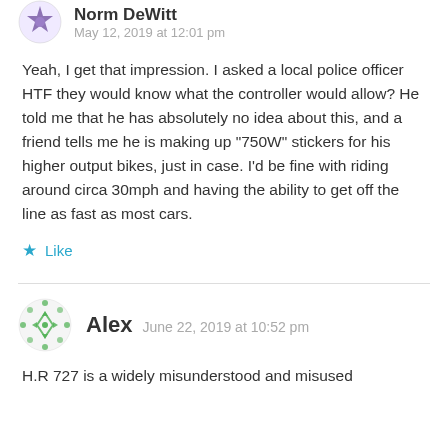Norm DeWitt
May 12, 2019 at 12:01 pm
Yeah, I get that impression. I asked a local police officer HTF they would know what the controller would allow? He told me that he has absolutely no idea about this, and a friend tells me he is making up “750W” stickers for his higher output bikes, just in case. I'd be fine with riding around circa 30mph and having the ability to get off the line as fast as most cars.
Like
Alex  June 22, 2019 at 10:52 pm
H.R 727 is a widely misunderstood and misused